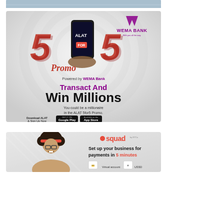[Figure (photo): Partial top of a clothing/fashion advertisement, cropped at top of page]
[Figure (infographic): Wema Bank ALAT 5for5 Promo advertisement. Shows large red '5' numerals on either side of a phone, 'FOR' label, 'Promo' script text, Wema Bank logo, 'Powered by WEMA Bank', 'Transact And', 'Win Millions', 'You could be a millionaire in the ALAT 5for5 Promo.', Google Play and App Store download buttons.]
[Figure (infographic): Squad by GTCo advertisement. Shows a person with afro hair wearing glasses, squad logo, 'Set up your business for payments in 5 minutes', Virtual account and USSD icons.]